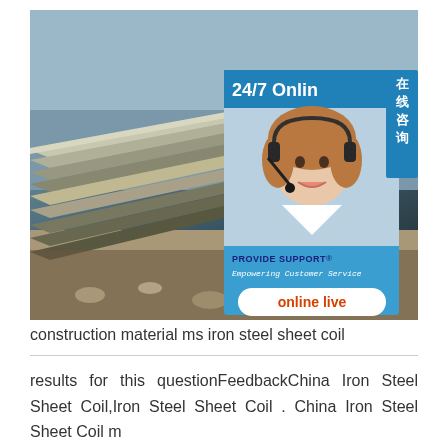[Figure (photo): Photo of stacked steel sheet coils/plates in a yard, with a 24/7 online support chat widget overlay featuring a woman with a headset and 'PROVIDE SUPPORT - Empowering Customer Service' branding, an 'online live' button, and a Chinese sidebar tab reading '在线咨询'.]
construction material ms iron steel sheet coil
results for this questionFeedbackChina Iron Steel Sheet Coil,Iron Steel Sheet Coil . China Iron Steel Sheet Coil m